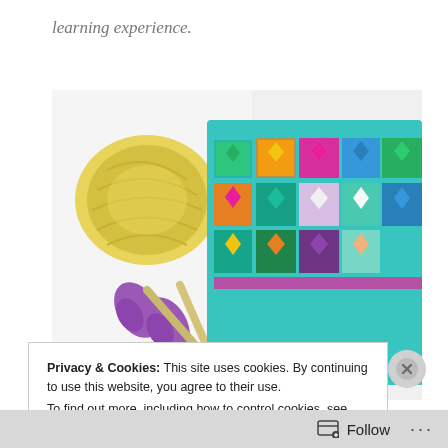learning experience.
[Figure (photo): A colorful crocheted granny square blanket/project with multiple bright squares in teal, pink, yellow, orange, green and blue, along with a ball of yellow yarn and purple scissors on a white background.]
Privacy & Cookies: This site uses cookies. By continuing to use this website, you agree to their use.
To find out more, including how to control cookies, see here:
Cookie Policy
Close and accept